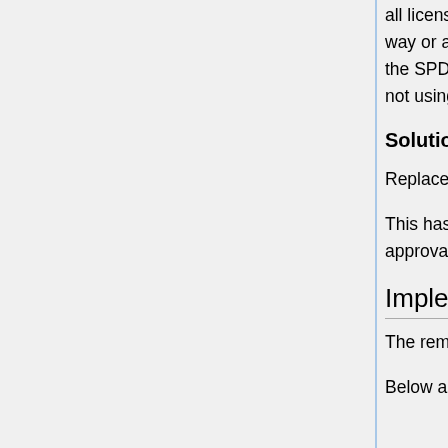all licenses that provide for later versions treat their application in the same way or as explicitly as the GNU family of licenses does. This, combined with the SPDX identifier not explicitly indicating "only" has the potential for people not using the accurate SPDX identifier.
Solution
Replace "GPL-2.0" identifier with "GPL-2.0-only"
This has been discussed with representatives from FSF and reflects their approval and blessing.
Implementation of Solution
The remaining question is how to implement this change.
Below are several options considered.